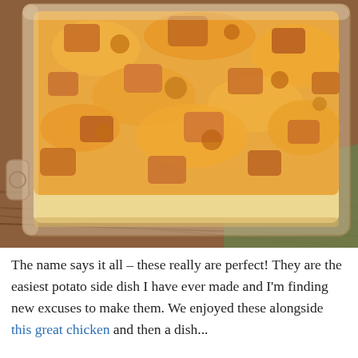[Figure (photo): A glass baking dish filled with cheesy potato casserole, topped with melted shredded cheddar cheese and chunks of roasted potato with bacon bits, sitting on a wooden table with a green cloth visible in the background.]
The name says it all – these really are perfect! They are the easiest potato side dish I have ever made and I'm finding new excuses to make them. We enjoyed these alongside this great chicken and then a dish...